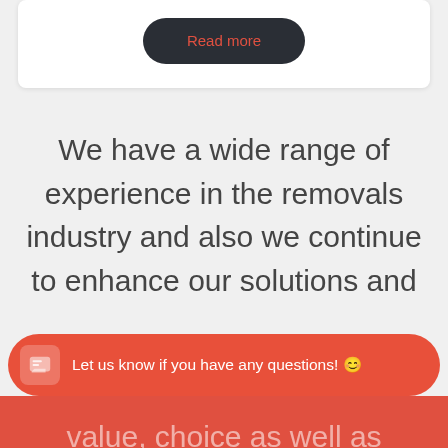[Figure (screenshot): A 'Read more' button with dark rounded background and red text]
We have a wide range of experience in the removals industry and also we continue to enhance our solutions and value, choice as well as
Let us know if you have any questions! 😊